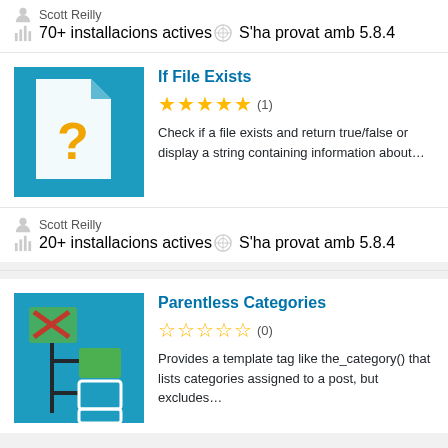Scott Reilly
70+ installacions actives    S'ha provat amb 5.8.4
If File Exists
[Figure (illustration): Blue square icon with white document and orange question mark]
★★★★★ (1)
Check if a file exists and return true/false or display a string containing information about...
Scott Reilly
20+ installacions actives    S'ha provat amb 5.8.4
Parentless Categories
[Figure (illustration): Blue square icon with category tree and crossed-out parent folder in red]
☆☆☆☆☆ (0)
Provides a template tag like the_category() that lists categories assigned to a post, but excludes...